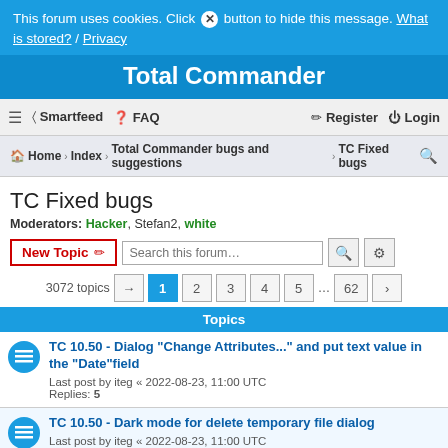This forum uses cookies. Click [x] button to hide this message. What is stored? / Privacy
Total Commander
≡  Smartfeed  ? FAQ    Register  Login
Home › Index › Total Commander bugs and suggestions › TC Fixed bugs [search icon]
TC Fixed bugs
Moderators: Hacker, Stefan2, white
New Topic  Search this forum…
3072 topics  [→] 1 2 3 4 5 … 62 [>]
Topics
TC 10.50 - Dialog "Change Attributes..." and put text value in the "Date"field
Last post by iteg « 2022-08-23, 11:00 UTC
Replies: 5
TC 10.50 - Dark mode for delete temporary file dialog
Last post by iteg « 2022-08-23, 11:00 UTC
Replies: 8